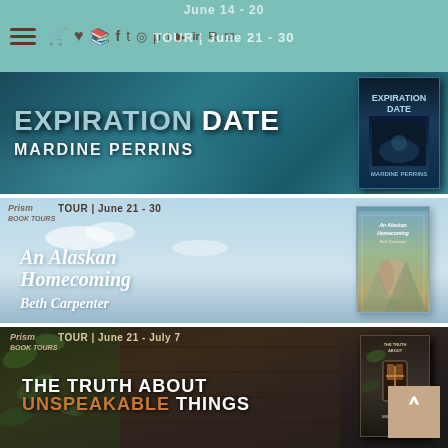Navigation bar with menu icons and tour dates: June 14-20, TOUR | June 21-30
[Figure (photo): Book tour banner for 'Expiration Date' by Mardine Perrins, teal/blue background with book cover]
[Figure (photo): Book tour banner for 'An Alaskan Homecoming' by Beth Carpenter, Prism Book Tours, June 21-30, sky blue background]
[Figure (photo): Book tour banner for 'The Truth About Unspeakable Things', Prism Book Tours, June 21 - July 7, dark moody background]